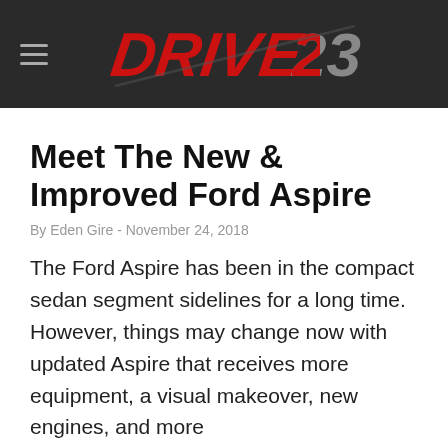DRIVE23
Meet The New & Improved Ford Aspire
By Eden Gire - November 24, 2018
The Ford Aspire has been in the compact sedan segment sidelines for a long time. However, things may change now with updated Aspire that receives more equipment, a visual makeover, new engines, and more